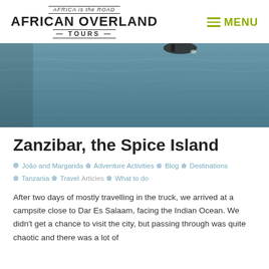AFRICA is the ROAD — AFRICAN OVERLAND TOURS — MENU
[Figure (photo): Ocean/sea horizon photo showing water surface with a dark object (boat) in the distance, blue-grey tones.]
Zanzibar, the Spice Island
João and Margarida  Adventure Activities  Blog  Destinations  Tanzania  Travel Articles  What to do
After two days of mostly travelling in the truck, we arrived at a campsite close to Dar Es Salaam, facing the Indian Ocean. We didn't get a chance to visit the city, but passing through was quite chaotic and there was a lot of